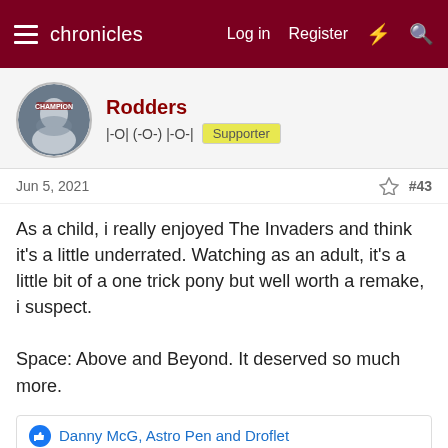chronicles   Log in   Register
Rodders
|-O| (-O-) |-O-|   Supporter
Jun 5, 2021   #43
As a child, i really enjoyed The Invaders and think it's a little underrated. Watching as an adult, it's a little bit of a one trick pony but well worth a remake, i suspect.

Space: Above and Beyond. It deserved so much more.
Danny McG, Astro Pen and Droflet
This site uses cookies to help personalise content, tailor your experience and to keep you logged in if you register.
By continuing to use this site, you are consenting to our use of cookies.
✓ Accept   Learn more...